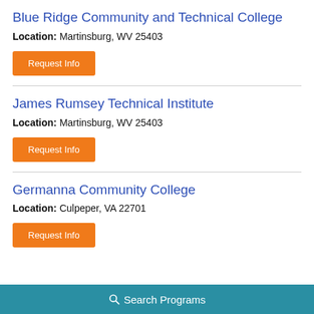Blue Ridge Community and Technical College
Location: Martinsburg, WV 25403
Request Info
James Rumsey Technical Institute
Location: Martinsburg, WV 25403
Request Info
Germanna Community College
Location: Culpeper, VA 22701
Request Info
Search Programs